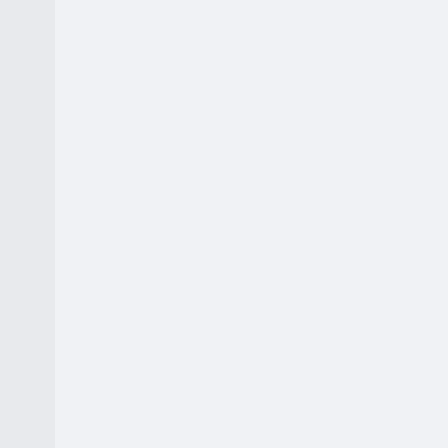s and security in place to continue operations unaffected.
Security Colocation providers offered multi-laye...